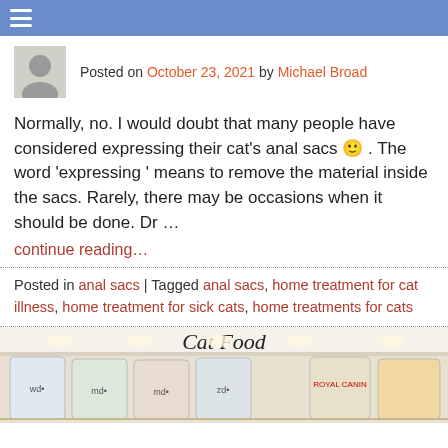≡ [hamburger menu]
Posted on October 23, 2021 by Michael Broad
Normally, no. I would doubt that many people have considered expressing their cat's anal sacs 🙂 . The word 'expressing ' means to remove the material inside the sacs. Rarely, there may be occasions when it should be done. Dr …
continue reading…
Posted in anal sacs | Tagged anal sacs, home treatment for cat illness, home treatment for sick cats, home treatments for cats
[Figure (photo): A pet store shelf displaying bags of cat food products under a 'Cat Food' sign with recessed lighting above.]